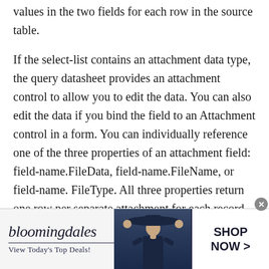values in the two fields for each row in the source table.
If the select-list contains an attachment data type, the query datasheet provides an attachment control to allow you to edit the data. You can also edit the data if you bind the field to an Attachment control in a form. You can individually reference one of the three properties of an attachment field: field-name.FileData, field-name.FileName, or field-name. FileType. All three properties return one row per separate attachment for each record in the source table, but you cannot update the values. The FileData property returns the binary attached file, the FileName property returns the original name of the file, and the FileType property returns the
[Figure (infographic): Bloomingdale's advertisement banner. Shows the Bloomingdale's logo in italic serif font, a horizontal underline, the tagline 'View Today's Top Deals!', a photo of a woman wearing a large brimmed hat, and a white button panel reading 'SHOP NOW >' on the right side.]